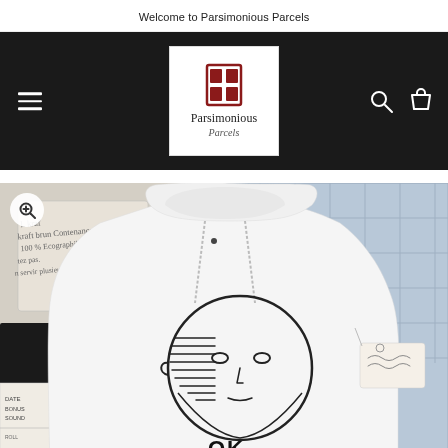Welcome to Parsimonious Parcels
[Figure (logo): Parsimonious Parcels logo with red door/window icon and brand name]
[Figure (photo): White anime-graphic hoodie (One Punch Man / 'OK.' print) displayed on a flat lay with books, bags, and accessories in the background]